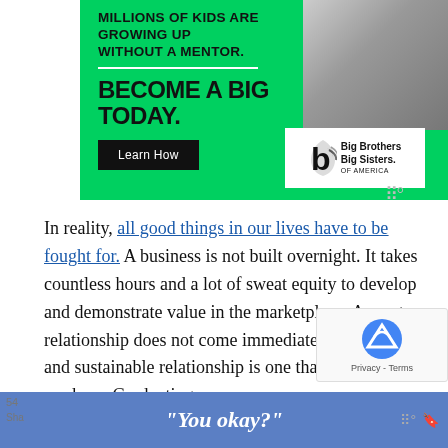[Figure (infographic): Big Brothers Big Sisters of America advertisement banner. Green background with text 'MILLIONS OF KIDS ARE GROWING UP WITHOUT A MENTOR.' and 'BECOME A BIG TODAY.' with a Learn How button and the organization logo. Photo of a mentor and child in the upper right.]
In reality, all good things in our lives have to be fought for. A business is not built overnight. It takes countless hours and a lot of sweat equity to develop and demonstrate value in the marketplace. A great relationship does not come immediately. A long term and sustainable relationship is one that you have to work on. Graduating
"You okay?"